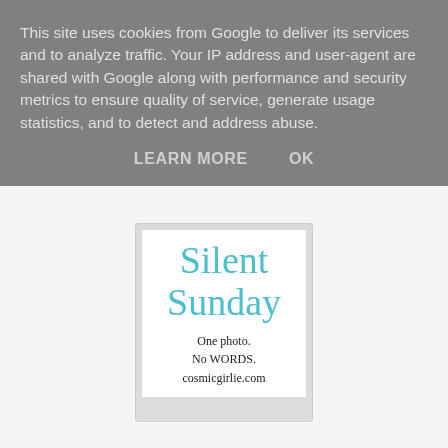This site uses cookies from Google to deliver its services and to analyze traffic. Your IP address and user-agent are shared with Google along with performance and security metrics to ensure quality of service, generate usage statistics, and to detect and address abuse.
LEARN MORE    OK
[Figure (illustration): A polaroid-style badge image with the text 'Silent Sunday' in large teal serif font, followed by 'One photo. No WORDS. cosmicgirlie.com' in smaller black serif text, on a white background with a gray polaroid border.]